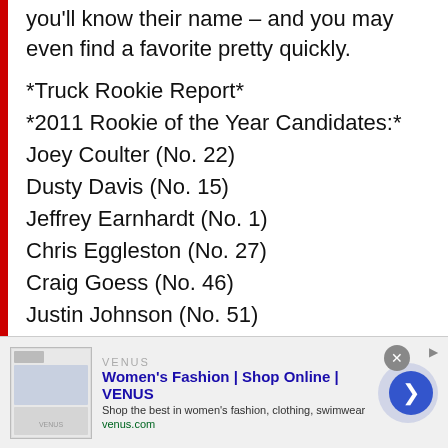you'll know their name – and you may even find a favorite pretty quickly.
*Truck Rookie Report*
*2011 Rookie of the Year Candidates:*
Joey Coulter (No. 22)
Dusty Davis (No. 15)
Jeffrey Earnhardt (No. 1)
Chris Eggleston (No. 27)
Craig Goess (No. 46)
Justin Johnson (No. 51)
Parker Kligerman (No. 29)
Johanna Long (No. 20)
Chase Mattioli (No. 99)
Miguel Paludo (No. 7)
[Figure (screenshot): Advertisement banner for Women's Fashion | Shop Online | VENUS with thumbnail image, title, description, venus.com URL, close button, and blue arrow button]